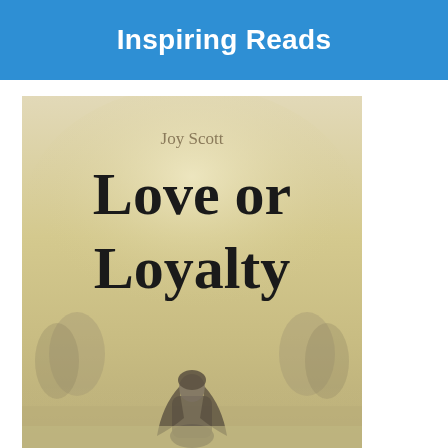Inspiring Reads
[Figure (illustration): Book cover of 'Love or Loyalty' by Joy Scott. Features large bold serif title text on a misty, warm beige-toned background with a silhouette of a woman with long hair viewed from behind, with trees visible in the foggy distance. Author name 'Joy Scott' appears above the title in lighter grey-beige serif text.]